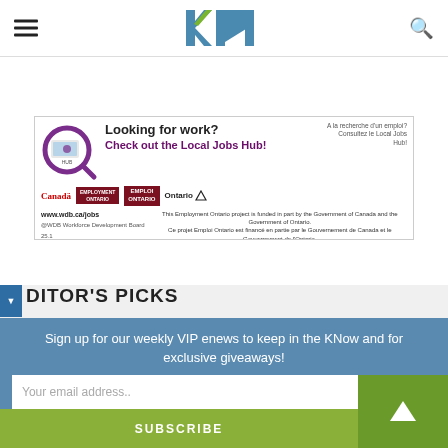kN (KawarthaNOW) website header with hamburger menu and search icon
[Figure (infographic): Looking for work? Check out the Local Jobs Hub! Employment Ontario ad banner with Canada, Employment Ontario, Emploi Ontario and Ontario logos. www.wdb.ca/jobs. This Employment Ontario project is funded in part by the Government of Canada and the Government of Ontario. Ce projet Emploi Ontario est financé en partie par le Gouvernement de Canada et le Gouvernement de l'Ontario.]
EDITOR'S PICKS
Sign up for our weekly VIP enews to keep in the KNow and for exclusive giveaways!
Your email address..
SUBSCRIBE